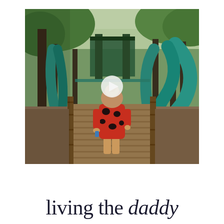[Figure (photo): A toddler in a red and black patterned outfit seen from behind, walking on a wooden boardwalk path toward a large playground with teal/green slides and climbing structures, surrounded by trees. A white play button icon is overlaid in the center of the image, indicating this is a video thumbnail.]
living the daddy